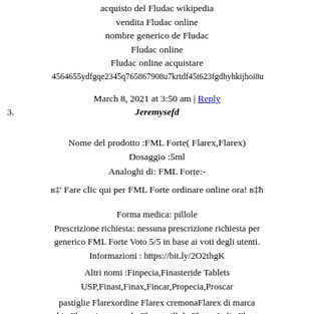acquisto del Fludac wikipedia
vendita Fludac online
nombre generico de Fludac
Fludac online
Fludac online acquistare
4564655ydfgqe2345q765867908u7krtdf45t623fgdhyhkijhoi8u
March 8, 2021 at 3:50 am | Reply
3. Jeremysefd
Nome del prodotto :FML Forte( Flarex,Flarex)
Dosaggio :5ml
Analoghi di: FML Forte:-
в‡' Fare clic qui per FML Forte ordinare online ora! в‡ħ
Forma medica: pillole
Prescrizione richiesta: nessuna prescrizione richiesta per generico FML Forte Voto 5/5 in base ai voti degli utenti.
Informazioni : https://bit.ly/2O2thgK
Altri nomi :Finpecia,Finasteride Tablets USP,Finast,Finax,Fincar,Propecia,Proscar
pastiglie Flarexordine Flarex cremonaFlarex di marca
chie Flarex in spagnolo Flarex pillole Flarex Italia Flarex